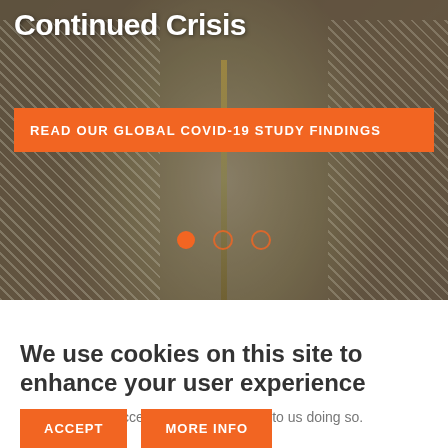[Figure (photo): Hero image of an elderly person wearing a beige/tan quilted jacket, with a dark overlay. Background shows blurred street scene.]
Continued Crisis
READ OUR GLOBAL COVID-19 STUDY FINDINGS
We use cookies on this site to enhance your user experience
By clicking the Accept button, you agree to us doing so.
ACCEPT
MORE INFO